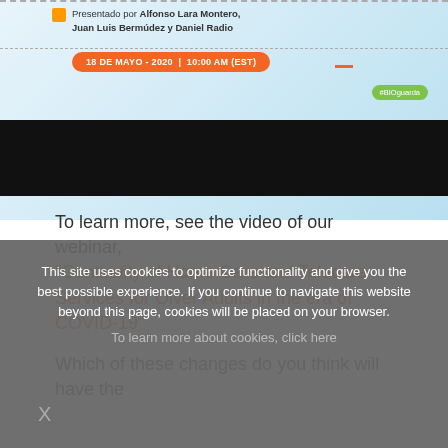[Figure (screenshot): Webinar banner with presenter names Alfonso Lara Montero, Juan Luis Bermúdez y Daniel Radio, date badge 18 DE MAYO - 2020 | 10:00 AM (EST), orange rectangle icon, mini dash, BIOguarda badge on blue-gradient background, followed by a black bar (video player area).]
To learn more, see the video of our webinar, “Continuity of Home Care and Telecare Services for Olver Adults in the era of COVID-19”
Which of these changes do you think will have the
This site uses cookies to optimize functionality and give you the best possible experience. If you continue to navigate this website beyond this page, cookies will be placed on your browser.
To learn more about cookies, click here